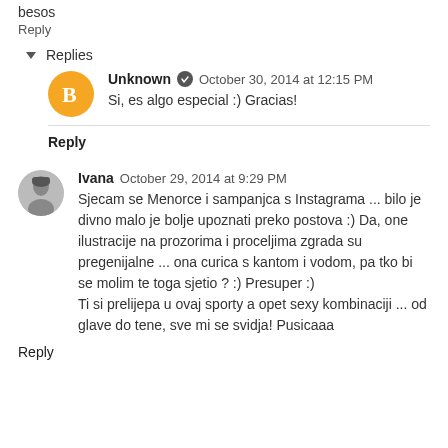besos
Reply
▾ Replies
Unknown  ✔  October 30, 2014 at 12:15 PM
Si, es algo especial :) Gracias!
Reply
Ivana  October 29, 2014 at 9:29 PM
Sjecam se Menorce i sampanjca s Instagrama ... bilo je divno malo je bolje upoznati preko postova :) Da, one ilustracije na prozorima i proceljima zgrada su pregenijalne ... ona curica s kantom i vodom, pa tko bi se molim te toga sjetio ? :) Presuper :)
Ti si prelijepa u ovaj sporty a opet sexy kombinaciji ... od glave do tene, sve mi se svidja! Pusicaaa
Reply